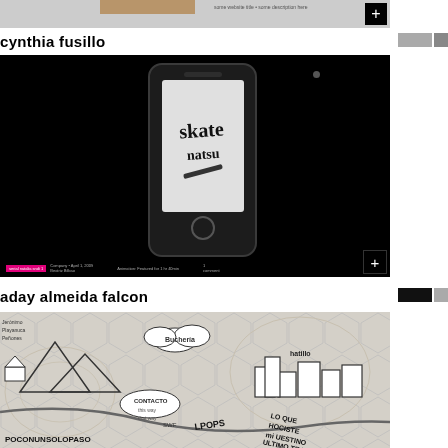[Figure (screenshot): Top partial screenshot showing thumbnail images and a gray toolbar with plus button]
cynthia fusillo
[Figure (screenshot): Dark screenshot of a website showing an iPhone with skate-themed typography/logo on screen, with metadata bar at bottom and pink tag]
aday almeida falcon
[Figure (illustration): Hand-drawn map/illustration with doodle style showing clouds, buildings, Spanish text labels including CONTACTO, LPOPS, POCONUNSOLOPASO, and other elements on a textured hexagonal background]